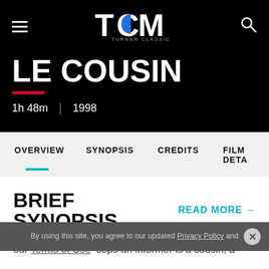TCM – Turner Classic Movies
LE COUSIN
1h 48m  |  1998
OVERVIEW | SYNOPSIS | CREDITS | FILM DETA
BRIEF SYNOPSIS
READ MORE →
By using this site, you agree to our updated Privacy Policy and our Terms of Use
Among French cops an informer is a cousin, a